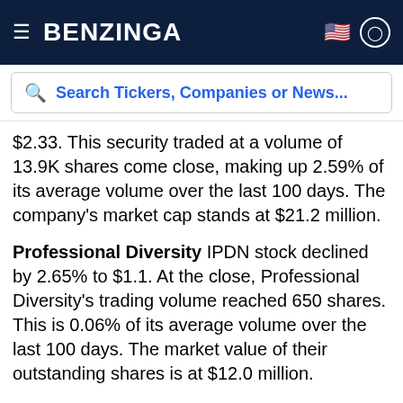BENZINGA
Search Tickers, Companies or News...
$2.33. This security traded at a volume of 13.9K shares come close, making up 2.59% of its average volume over the last 100 days. The company's market cap stands at $21.2 million.
Professional Diversity IPDN stock declined by 2.65% to $1.1. At the close, Professional Diversity's trading volume reached 650 shares. This is 0.06% of its average volume over the last 100 days. The market value of their outstanding shares is at $12.0 million.
Performance Shipping PSHG stock fell 2.53% to $0.58. This security traded at a volume of 3.3K shares